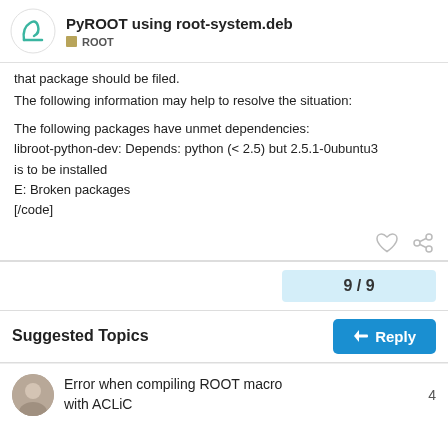PyROOT using root-system.deb — ROOT
that package should be filed.
The following information may help to resolve the situation:

The following packages have unmet dependencies:
libroot-python-dev: Depends: python (< 2.5) but 2.5.1-0ubuntu3 is to be installed
E: Broken packages
[/code]
9 / 9
Suggested Topics
Reply
Error when compiling ROOT macro with ACLiC
4